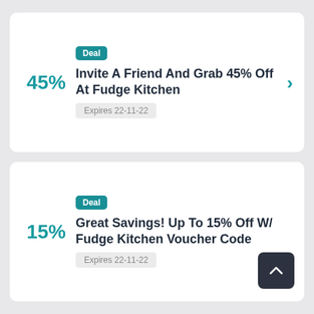Deal
Invite A Friend And Grab 45% Off At Fudge Kitchen
Expires 22-11-22
Deal
Great Savings! Up To 15% Off W/ Fudge Kitchen Voucher Code
Expires 22-11-22